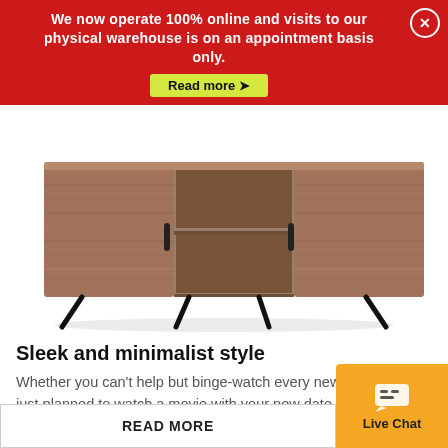We now operate 100% online and visits to our physical warehouse is on an appointment basis only.
[Figure (photo): A walnut-finish mid-century modern TV stand with two sliding doors, open center shelving, and angled black metal legs.]
Sleek and minimalist style
Whether you can't help but binge-watch every new show or you just planned to watch a movie with your new date this weekend, your TV needs the perfect stand to support it.
READ MORE
Live Chat